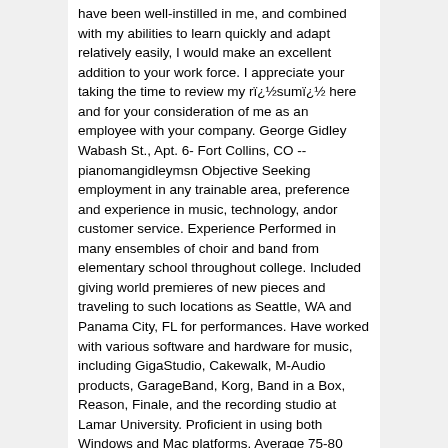have been well-instilled in me, and combined with my abilities to learn quickly and adapt relatively easily, I would make an excellent addition to your work force. I appreciate your taking the time to review my rï¿½sumï¿½ here and for your consideration of me as an employee with your company. George Gidley Wabash St., Apt. 6- Fort Collins, CO -- pianomangidleymsn Objective Seeking employment in any trainable area, preference and experience in music, technology, andor customer service. Experience Performed in many ensembles of choir and band from elementary school throughout college. Included giving world premieres of new pieces and traveling to such locations as Seattle, WA and Panama City, FL for performances. Have worked with various software and hardware for music, including GigaStudio, Cakewalk, M-Audio products, GarageBand, Korg, Band in a Box, Reason, Finale, and the recording studio at Lamar University. Proficient in using both Windows and Mac platforms. Average 75-80 WPM. Employment December to February - Store Associate at: Music & Arts Center Town Center Blvd., Sugar Land, TX -- Duties include assisting customers with product selection and purchase transactions while maintaining an organized and tidy work environment. April to June - Server at: Texas